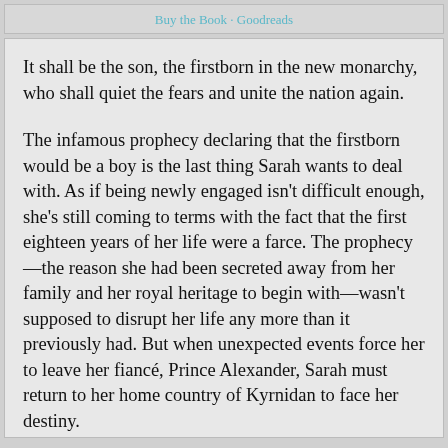Buy the Book · Goodreads
It shall be the son, the firstborn in the new monarchy, who shall quiet the fears and unite the nation again.
The infamous prophecy declaring that the firstborn would be a boy is the last thing Sarah wants to deal with. As if being newly engaged isn't difficult enough, she's still coming to terms with the fact that the first eighteen years of her life were a farce. The prophecy—the reason she had been secreted away from her family and her royal heritage to begin with—wasn't supposed to disrupt her life any more than it previously had. But when unexpected events force her to leave her fiancé, Prince Alexander, Sarah must return to her home country of Kyrnidan to face her destiny.
Reunited with her royal family, Sarah is thrust into the political turmoil that surrounds her ancestral home. To make things worse, her arrival has upturned the long-held prophecy.
As the voices of distension mount against her, Sarah turns to her bodyguard, Luther, for protection. But Luther's protection comes with a price. Propelled into a plot that threatens her life